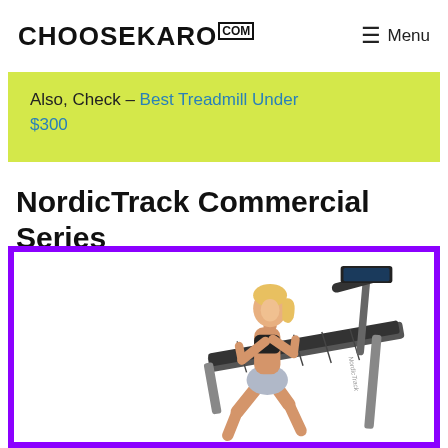CHOOSEKARO.com — Menu
Also, Check – Best Treadmill Under $300
NordicTrack Commercial Series
[Figure (photo): Woman in athletic wear running on a NordicTrack treadmill, product photo with purple border frame]